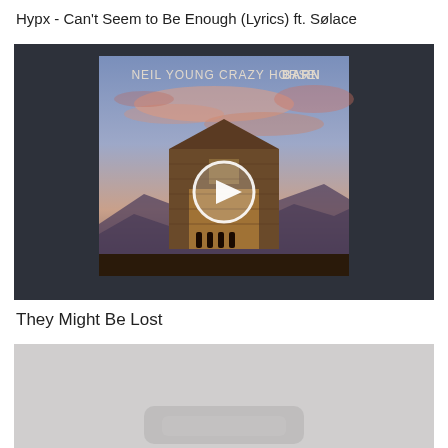Hypx - Can't Seem to Be Enough (Lyrics) ft. Sølace
[Figure (screenshot): Video thumbnail showing Neil Young Crazy Horse Barn album cover — a log barn at dusk under a purple-pink sky — with a white circular play button overlay in the center.]
They Might Be Lost
[Figure (screenshot): Partial video thumbnail, gray/light background, partially visible rounded rectangle shape at the bottom center.]